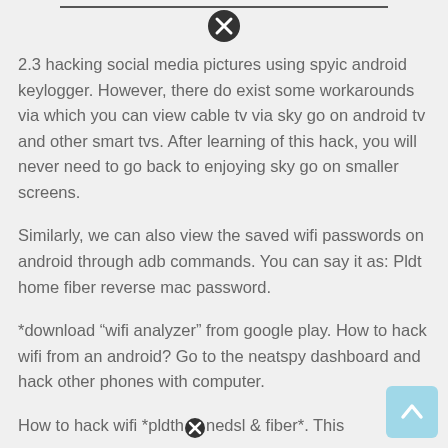2.3 hacking social media pictures using spyic android keylogger. However, there do exist some workarounds via which you can view cable tv via sky go on android tv and other smart tvs. After learning of this hack, you will never need to go back to enjoying sky go on smaller screens.
Similarly, we can also view the saved wifi passwords on android through adb commands. You can say it as: Pldt home fiber reverse mac password.
*download “wifi analyzer” from google play. How to hack wifi from an android? Go to the neatspy dashboard and hack other phones with computer.
How to hack wifi *pldth⊙nedsl & fiber*. This